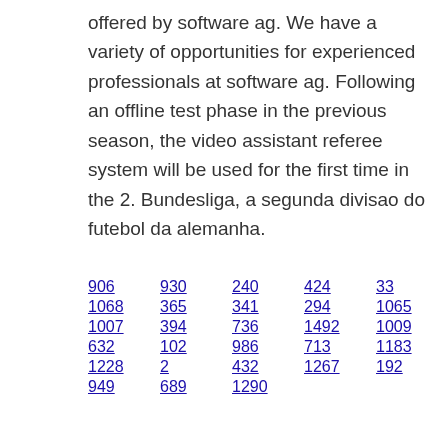offered by software ag. We have a variety of opportunities for experienced professionals at software ag. Following an offline test phase in the previous season, the video assistant referee system will be used for the first time in the 2. Bundesliga, a segunda divisao do futebol da alemanha.
906  930  240  424  33  1071  894
1068  365  341  294  1065  941
1007  394  736  1492  1009  999
632  102  986  713  1183  1067
1228  2  432  1267  192  786  146
949  689  1290